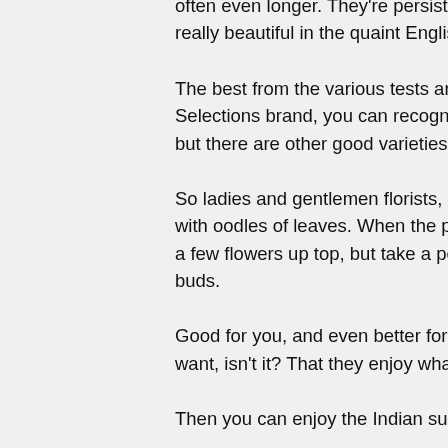often even longer. They're persistent bloomers, these little cyclamen. And they're really beautiful in the quaint English cottage gardens.
The best from the various tests are the cyclamen sold under the Veranda Selections brand, you can recognise these by the label and the apple-green tray, but there are other good varieties for sale too.
So ladies and gentlemen florists, if in doubt, ask, and don't forget to select plants with oodles of leaves. When the plants first come to market they may only have a few flowers up top, but take a peak under the leaves and you'll see masses of buds.
Good for you, and even better for your customers! Because that's what you want, isn't it? That they enjoy what they've bought from you?
Then you can enjoy the Indian summer, and